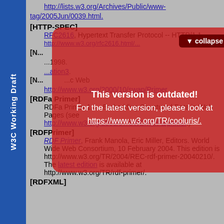W3C Working Draft
[HTTP-SPEC] RFC2616, Hypertext Transfer Protocol -- HTTP/1.1, http://www.w3.org/...
[RDFa Primer] RDFa Primer 1.0 - Embedding Structured Data in Web Pages (see http://www.w3.org/2006/07/SWD/RDFa/primer.)
[RDFPrimer] RDF Primer, Frank Manola, Eric Miller, Editors. World Wide Web Consortium, 10 February 2004. This edition is http://www.w3.org/TR/2004/REC-rdf-primer-20040210/. The latest edition is available at http://www.w3.org/TR/rdf-primer/.
[Figure (screenshot): Red overlay popup warning: 'This version is outdated! For the latest version, please look at https://www.w3.org/TR/cooluris/.' with a collapse button in top right corner.]